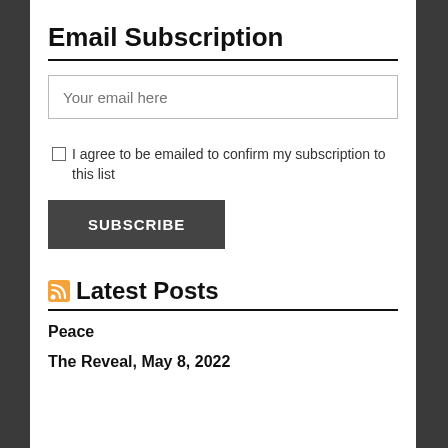Email Subscription
Your email here
I agree to be emailed to confirm my subscription to this list
SUBSCRIBE
Latest Posts
Peace
The Reveal, May 8, 2022